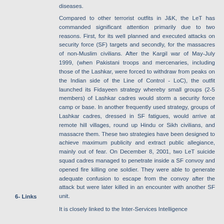diseases.
Compared to other terrorist outfits in J&K, the LeT has commanded significant attention primarily due to two reasons. First, for its well planned and executed attacks on security force (SF) targets and secondly, for the massacres of non-Muslim civilians. After the Kargil war of May-July 1999, (when Pakistani troops and mercenaries, including those of the Lashkar, were forced to withdraw from peaks on the Indian side of the Line of Control - LoC), the outfit launched its Fidayeen strategy whereby small groups (2-5 members) of Lashkar cadres would storm a security force camp or base. In another frequently used strategy, groups of Lashkar cadres, dressed in SF fatigues, would arrive at remote hill villages, round up Hindu or Sikh civilians, and massacre them. These two strategies have been designed to achieve maximum publicity and extract public allegiance, mainly out of fear. On December 8, 2001, two LeT suicide squad cadres managed to penetrate inside a SF convoy and opened fire killing one soldier. They were able to generate adequate confusion to escape from the convoy after the attack but were later killed in an encounter with another SF unit.
6- Links
It is closely linked to the Inter-Services Intelligence